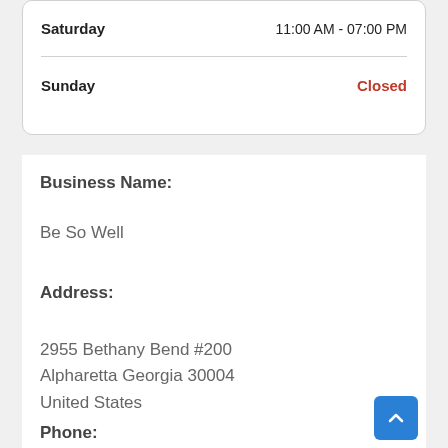| Day | Hours |
| --- | --- |
| Saturday | 11:00 AM - 07:00 PM |
| Sunday | Closed |
Business Name:
Be So Well
Address:
2955 Bethany Bend #200
Alpharetta Georgia 30004
United States
Phone:
1-770-696-1373